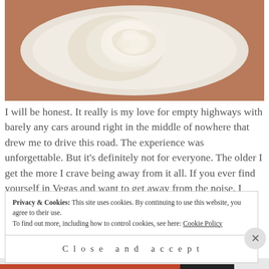[Figure (photo): A white plate with a creamy food item (appears to be a potato or egg salad mound) on a dark wooden surface, photographed from above.]
I will be honest. It really is my love for empty highways with barely any cars around right in the middle of nowhere that drew me to drive this road. The experience was unforgettable. But it's definitely not for everyone. The older I get the more I crave being away from it all. If you ever find yourself in Vegas and want to get away from the noise. I highly recommend it.
Privacy & Cookies: This site uses cookies. By continuing to use this website, you agree to their use.
To find out more, including how to control cookies, see here: Cookie Policy
Close and accept